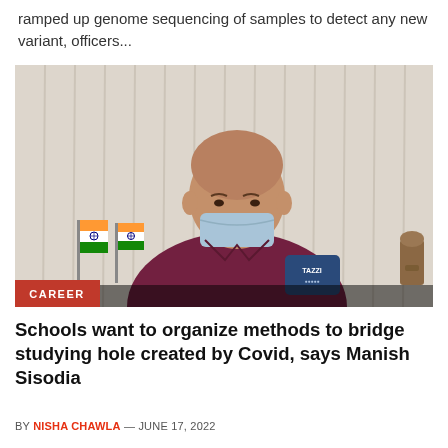ramped up genome sequencing of samples to detect any new variant, officers...
[Figure (photo): A bald man wearing a maroon shirt and light blue face mask sits at a desk with two Indian flags to his left and a microphone in front of him. A chess piece is visible on the right side. A red CAREER badge is overlaid at the bottom left of the image.]
Schools want to organize methods to bridge studying hole created by Covid, says Manish Sisodia
BY NISHA CHAWLA — JUNE 17, 2022